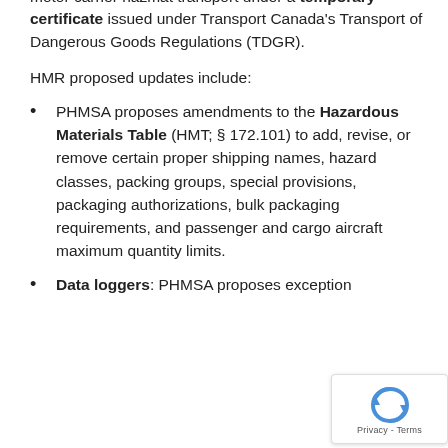motor carrier hazmat transport under a temporary certificate issued under Transport Canada's Transport of Dangerous Goods Regulations (TDGR).
HMR proposed updates include:
PHMSA proposes amendments to the Hazardous Materials Table (HMT; § 172.101) to add, revise, or remove certain proper shipping names, hazard classes, packing groups, special provisions, packaging authorizations, bulk packaging requirements, and passenger and cargo aircraft maximum quantity limits.
Data loggers: PHMSA proposes exception...